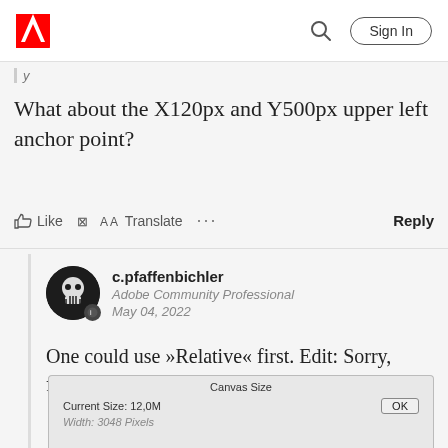Adobe Community — Sign In
(partial text above question)
What about the X120px and Y500px upper left anchor point?
Like  Translate  ...  Reply
c.pfaffenbichler
Adobe Community Professional
May 04, 2022
One could use »Relative« first. Edit: Sorry, forgot to set the Reference Point accordingly.
[Figure (screenshot): Partial screenshot of Adobe Photoshop Canvas Size dialog showing Current Size: 12.0M and OK button]